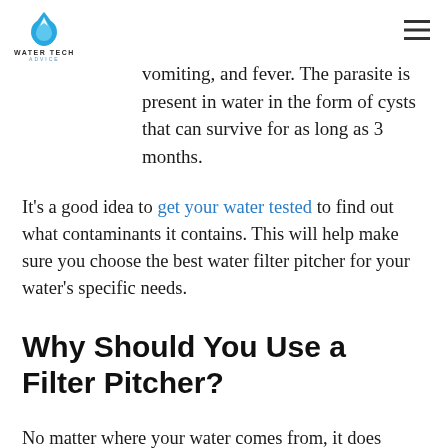WATER TECH ADVICE
vomiting, and fever. The parasite is present in water in the form of cysts that can survive for as long as 3 months.
It's a good idea to get your water tested to find out what contaminants it contains. This will help make sure you choose the best water filter pitcher for your water's specific needs.
Why Should You Use a Filter Pitcher?
No matter where your water comes from, it does contain some contaminants.